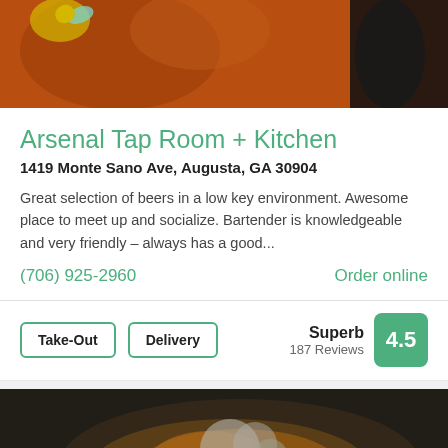[Figure (photo): Top decorative image with orange/terracotta pottery or mural background]
Arsenal Tap Room + Kitchen
1419 Monte Sano Ave, Augusta, GA 30904
Great selection of beers in a low key environment. Awesome place to meet up and socialize. Bartender is knowledgeable and very friendly - always has a good...
(706) 925-2960
Order online
Take-Out
Delivery
Superb
187 Reviews
4.5
[Figure (photo): Food photo showing a dish with crumbled cheese and toppings, labeled BISTROS • $$]